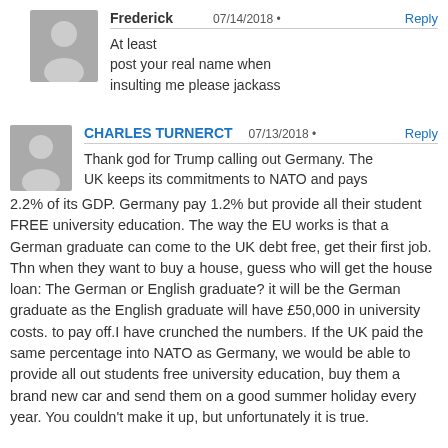[Figure (illustration): Gray avatar silhouette of a person (user profile picture)]
Frederick
07/14/2018 •
At least post your real name when insulting me please jackass
[Figure (illustration): Gray avatar silhouette of a person (user profile picture)]
CHARLES TURNERCT
07/13/2018 •
Thank god for Trump calling out Germany. The UK keeps its commitments to NATO and pays 2.2% of its GDP. Germany pay 1.2% but provide all their student FREE university education. The way the EU works is that a German graduate can come to the UK debt free, get their first job. Thn when they want to buy a house, guess who will get the house loan: The German or English graduate? it will be the German graduate as the English graduate will have £50,000 in university costs. to pay off.I have crunched the numbers. If the UK paid the same percentage into NATO as Germany, we would be able to provide all out students free university education, buy them a brand new car and send them on a good summer holiday every year. You couldn't make it up, but unfortunately it is true.